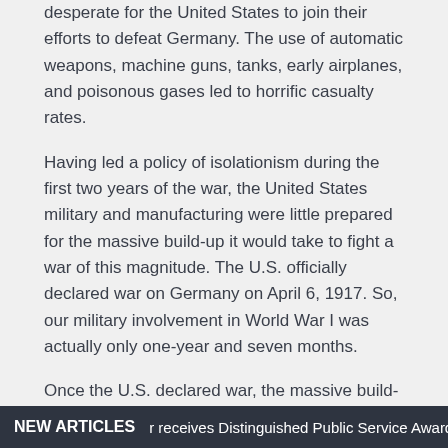desperate for the United States to join their efforts to defeat Germany. The use of automatic weapons, machine guns, tanks, early airplanes, and poisonous gases led to horrific casualty rates.
Having led a policy of isolationism during the first two years of the war, the United States military and manufacturing were little prepared for the massive build-up it would take to fight a war of this magnitude. The U.S. officially declared war on Germany on April 6, 1917. So, our military involvement in World War I was actually only one-year and seven months.
Once the U.S. declared war, the massive build-up of troops and supplies was almost unbelievable. Major General John J. Pershing was chosen to lead the American Expeditionary Force (A. E. F.). He was more admired than liked. By nature he was strict in manner, attitude, and appearance, and his rigid insistence on
NEW ARTICLES   r receives Distinguished Public Service Award t